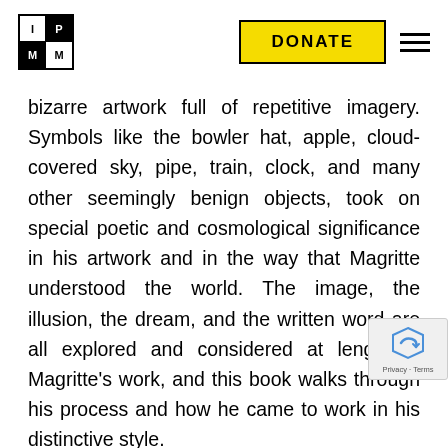IPM logo, DONATE button, hamburger menu
bizarre artwork full of repetitive imagery. Symbols like the bowler hat, apple, cloud-covered sky, pipe, train, clock, and many other seemingly benign objects, took on special poetic and cosmological significance in his artwork and in the way that Magritte understood the world. The image, the illusion, the dream, and the written word are all explored and considered at length in Magritte’s work, and this book walks through his process and how he came to work in his distinctive style.
Joan Miro: I Work Like A Gardner